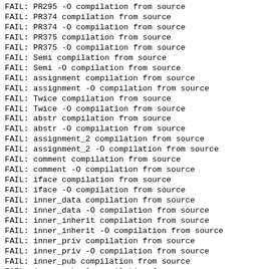FAIL: PR295 -O compilation from source
FAIL: PR374 compilation from source
FAIL: PR374 -O compilation from source
FAIL: PR375 compilation from source
FAIL: PR375 -O compilation from source
FAIL: Semi compilation from source
FAIL: Semi -O compilation from source
FAIL: assignment compilation from source
FAIL: assignment -O compilation from source
FAIL: Twice compilation from source
FAIL: Twice -O compilation from source
FAIL: abstr compilation from source
FAIL: abstr -O compilation from source
FAIL: assignment_2 compilation from source
FAIL: assignment_2 -O compilation from source
FAIL: comment compilation from source
FAIL: comment -O compilation from source
FAIL: iface compilation from source
FAIL: iface -O compilation from source
FAIL: inner_data compilation from source
FAIL: inner_data -O compilation from source
FAIL: inner_inherit compilation from source
FAIL: inner_inherit -O compilation from source
FAIL: inner_priv compilation from source
FAIL: inner_priv -O compilation from source
FAIL: inner_pub compilation from source
FAIL: inner_pub -O compilation from source
FAIL: not_a_redef compilation from source
FAIL: not_a_redef -O compilation from source
FAIL: perc compilation from source